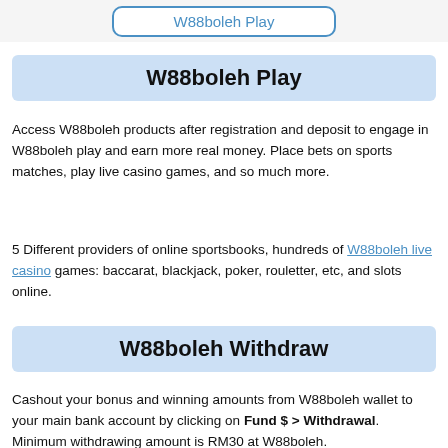W88boleh Play
W88boleh Play
Access W88boleh products after registration and deposit to engage in W88boleh play and earn more real money. Place bets on sports matches, play live casino games, and so much more.
5 Different providers of online sportsbooks, hundreds of W88boleh live casino games: baccarat, blackjack, poker, rouletter, etc, and slots online.
W88boleh Withdraw
Cashout your bonus and winning amounts from W88boleh wallet to your main bank account by clicking on Fund $ > Withdrawal. Minimum withdrawing amount is RM30 at W88boleh.